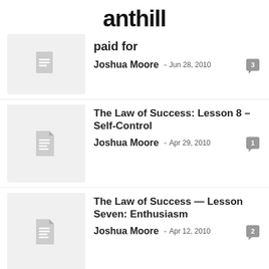anthill
paid for — Joshua Moore - Jun 28, 2010 — 3 comments
The Law of Success: Lesson 8 – Self-Control — Joshua Moore - Apr 29, 2010 — 1 comment
The Law of Success — Lesson Seven: Enthusiasm — Joshua Moore - Apr 12, 2010 — 2 comments